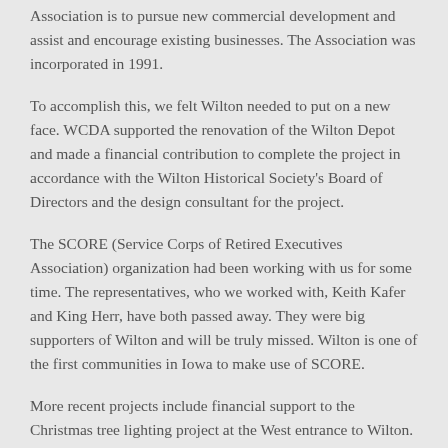Association is to pursue new commercial development and assist and encourage existing businesses. The Association was incorporated in 1991.
To accomplish this, we felt Wilton needed to put on a new face. WCDA supported the renovation of the Wilton Depot and made a financial contribution to complete the project in accordance with the Wilton Historical Society's Board of Directors and the design consultant for the project.
The SCORE (Service Corps of Retired Executives Association) organization had been working with us for some time. The representatives, who we worked with, Keith Kafer and King Herr, have both passed away. They were big supporters of Wilton and will be truly missed. Wilton is one of the first communities in Iowa to make use of SCORE.
More recent projects include financial support to the Christmas tree lighting project at the West entrance to Wilton. We have also assisted the local Trees Forever chapter in their effort to plant trees in the city parks and along the West corridor. WCDA was responsible for the Seasonal Banners which hang along 5th Street and continue to support the project.